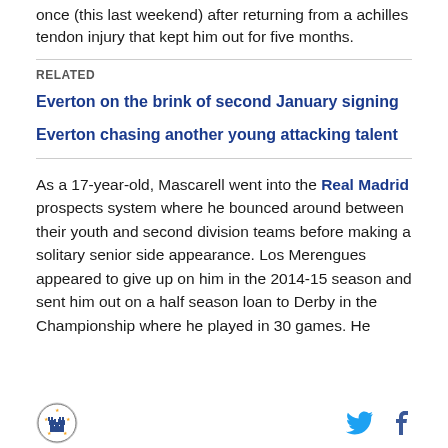once (this last weekend) after returning from a achilles tendon injury that kept him out for five months.
RELATED
Everton on the brink of second January signing
Everton chasing another young attacking talent
As a 17-year-old, Mascarell went into the Real Madrid prospects system where he bounced around between their youth and second division teams before making a solitary senior side appearance. Los Merengues appeared to give up on him in the 2014-15 season and sent him out on a half season loan to Derby in the Championship where he played in 30 games. He
Logo | Twitter | Facebook